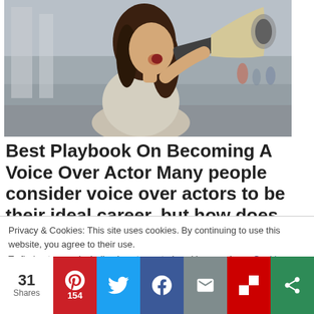[Figure (photo): Young woman shouting into a megaphone/bullhorn outdoors on a street]
Best Playbook On Becoming A Voice Over Actor Many people consider voice over actors to be their ideal career, but how does
Privacy & Cookies: This site uses cookies. By continuing to use this website, you agree to their use.
To find out more, including how to control cookies, see here: Cookie Policy
31 Shares